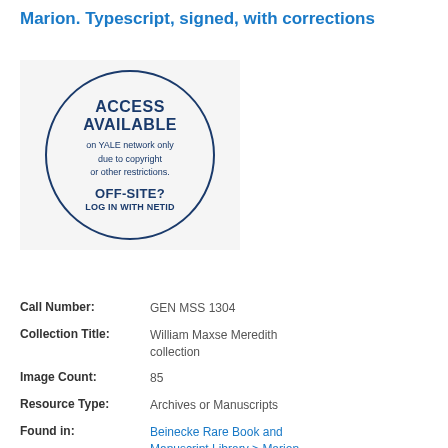Marion. Typescript, signed, with corrections
[Figure (infographic): A circular badge with dark navy blue border on a light gray background. Text inside reads: ACCESS AVAILABLE on YALE network only due to copyright or other restrictions. OFF-SITE? LOG IN WITH NETID]
| Call Number: | GEN MSS 1304 |
| Collection Title: | William Maxse Meredith collection |
| Image Count: | 85 |
| Resource Type: | Archives or Manuscripts |
| Found in: | Beinecke Rare Book and Manuscript Library > Marion |